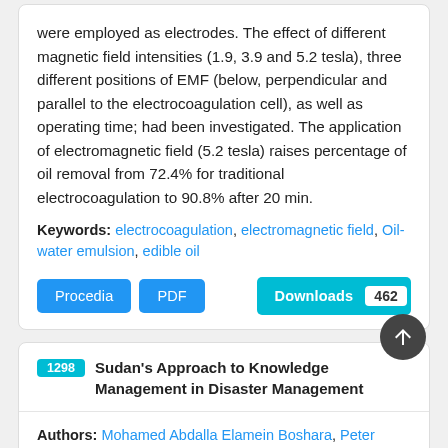were employed as electrodes. The effect of different magnetic field intensities (1.9, 3.9 and 5.2 tesla), three different positions of EMF (below, perpendicular and parallel to the electrocoagulation cell), as well as operating time; had been investigated. The application of electromagnetic field (5.2 tesla) raises percentage of oil removal from 72.4% for traditional electrocoagulation to 90.8% after 20 min.
Keywords: electrocoagulation, electromagnetic field, Oil-water emulsion, edible oil
Procedia  PDF  Downloads 462
1298  Sudan's Approach to Knowledge Management in Disaster Management
Authors: Mohamed Abdalla Elamein Boshara, Peter